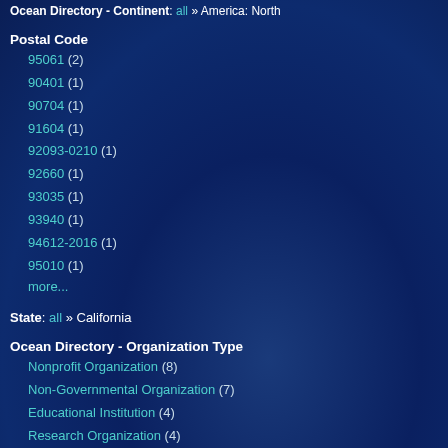Ocean Directory - Continent: all » America: North
Postal Code
95061 (2)
90401 (1)
90704 (1)
91604 (1)
92093-0210 (1)
92660 (1)
93035 (1)
93940 (1)
94612-2016 (1)
95010 (1)
more...
State: all » California
Ocean Directory - Organization Type
Nonprofit Organization (8)
Non-Governmental Organization (7)
Educational Institution (4)
Research Organization (4)
Corporation (2)
Museum (2)
Science Institute (2)
Aquarium (1)
Foundation (1)
Government Agency (1)
more...